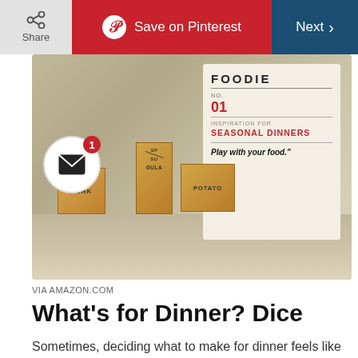Share | Save on Pinterest | Next >
[Figure (photo): Photo of wooden food dice blocks labeled PORK, POTATO, and other food ingredients, alongside a canvas bag labeled 'FOODIE' No. 01 INSPIRATION FOR SEASONAL DINNERS Play with your food. An email notification circle with badge showing 1 is overlaid on the left side.]
VIA AMAZON.COM
What’s for Dinner? Dice
Sometimes, deciding what to make for dinner feels like more work than the actual cooking. Enter Foodie Dice! Just roll the dice to figure out the cooking method, protein, grains/carbs, herbs and